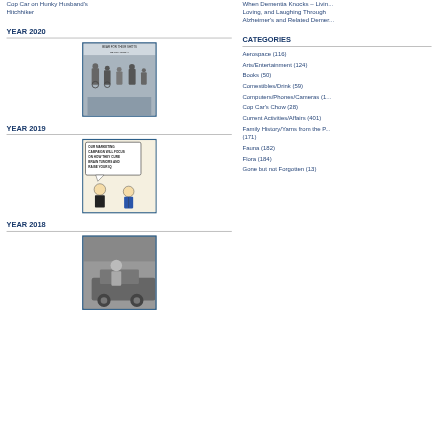Cop Car on Hunky Husband's Hitchhiker
When Dementia Knocks – Living, Loving, and Laughing Through Alzheimer's and Related Demer...
YEAR 2020
[Figure (photo): Book cover image with text 'BEAR FOR THEIR SHOTS BE ON MONDAY' showing people in wheelchairs]
YEAR 2019
[Figure (photo): Dilbert-style cartoon with text 'OUR MARKETING CAMPAIGN WILL FOCUS ON HOW THEY CURE BRAIN TUMORS AND RAISE YOUR IQ']
YEAR 2018
[Figure (photo): Black and white photo of person near a car]
CATEGORIES
Aerospace (116)
Arts/Entertainment (124)
Books (50)
Comestibles/Drink (59)
Computers/Phones/Cameras (1...
Cop Car's Chow (28)
Current Activities/Affairs (401)
Family History/Yarns from the P... (171)
Fauna (182)
Flora (184)
Gone but not Forgotten (13)